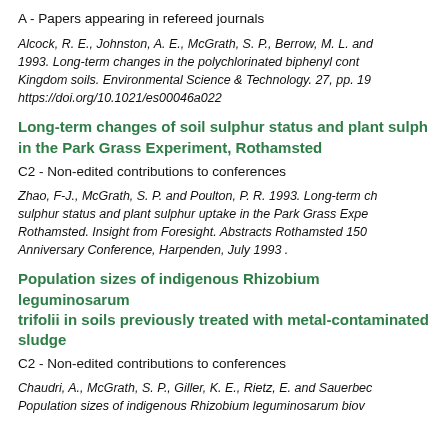A - Papers appearing in refereed journals
Alcock, R. E., Johnston, A. E., McGrath, S. P., Berrow, M. L. and 1993. Long-term changes in the polychlorinated biphenyl cont Kingdom soils. Environmental Science & Technology. 27, pp. 19 https://doi.org/10.1021/es00046a022
Long-term changes of soil sulphur status and plant sulph in the Park Grass Experiment, Rothamsted
C2 - Non-edited contributions to conferences
Zhao, F-J., McGrath, S. P. and Poulton, P. R. 1993. Long-term ch sulphur status and plant sulphur uptake in the Park Grass Expe Rothamsted. Insight from Foresight. Abstracts Rothamsted 150 Anniversary Conference, Harpenden, July 1993 .
Population sizes of indigenous Rhizobium leguminosarum trifolii in soils previously treated with metal-contaminated sludge
C2 - Non-edited contributions to conferences
Chaudri, A., McGrath, S. P., Giller, K. E., Rietz, E. and Sauerbec Population sizes of indigenous Rhizobium leguminosarum biov